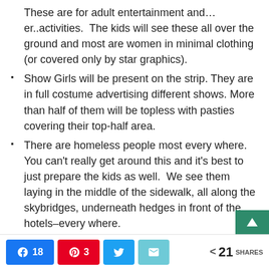These are for adult entertainment and…er..activities.  The kids will see these all over the ground and most are women in minimal clothing (or covered only by star graphics).
Show Girls will be present on the strip. They are in full costume advertising different shows. More than half of them will be topless with pasties covering their top-half area.
There are homeless people most every where.  You can't really get around this and it's best to just prepare the kids as well.  We see them laying in the middle of the sidewalk, all along the skybridges, underneath hedges in front of the hotels–every where.
There is a lot of drunk individuals and this only escalates at night. If you choose to walk down the sidewalk with the kids, keep them close. There are a lot of peopl
18  3  21 SHARES